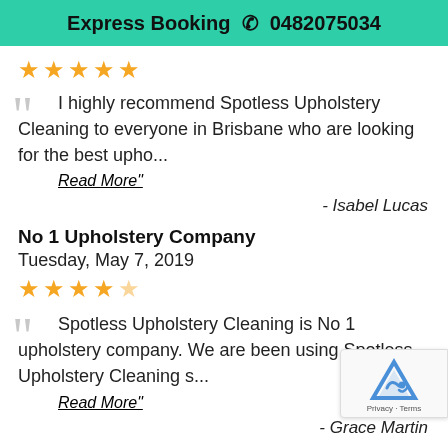Express Booking 📞 0482075034
[Figure (other): Five gold stars rating]
I highly recommend Spotless Upholstery Cleaning to everyone in Brisbane who are looking for the best upho...
Read More"
- Isabel Lucas
No 1 Upholstery Company
Tuesday, May 7, 2019
[Figure (other): Four gold stars rating]
Spotless Upholstery Cleaning is No 1 upholstery company. We are been using Spotless Upholstery Cleaning s...
Read More"
- Grace Martin